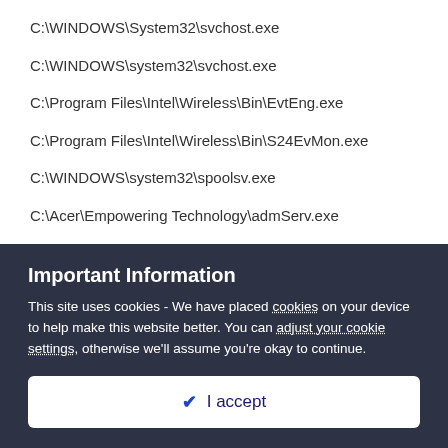C:\WINDOWS\System32\svchost.exe
C:\WINDOWS\system32\svchost.exe
C:\Program Files\Intel\Wireless\Bin\EvtEng.exe
C:\Program Files\Intel\Wireless\Bin\S24EvMon.exe
C:\WINDOWS\system32\spoolsv.exe
C:\Acer\Empowering Technology\admServ.exe
C:\Program Files\Acer\Acer Arcade\Kernel\TV\CLCapSvc.exe
C:\WINDOWS\system32\CTsvcCDA.exe
Important Information
This site uses cookies - We have placed cookies on your device to help make this website better. You can adjust your cookie settings, otherwise we'll assume you're okay to continue.
I accept